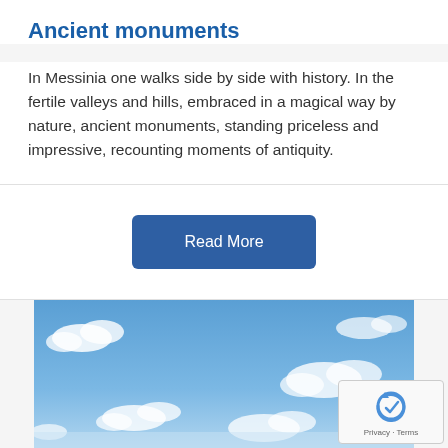Ancient monuments
In Messinia one walks side by side with history. In the fertile valleys and hills, embraced in a magical way by nature, ancient monuments, standing priceless and impressive, recounting moments of antiquity.
Read More
[Figure (photo): Blue sky with white clouds, panoramic photo. A reCAPTCHA badge with logo and 'Privacy - Terms' text appears in the bottom-right corner.]